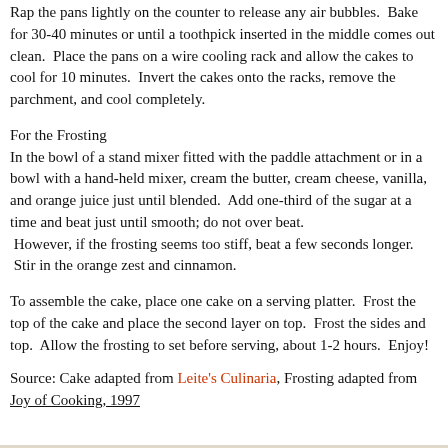Rap the pans lightly on the counter to release any air bubbles. Bake for 30-40 minutes or until a toothpick inserted in the middle comes out clean. Place the pans on a wire cooling rack and allow the cakes to cool for 10 minutes. Invert the cakes onto the racks, remove the parchment, and cool completely.
For the Frosting
In the bowl of a stand mixer fitted with the paddle attachment or in a bowl with a hand-held mixer, cream the butter, cream cheese, vanilla, and orange juice just until blended. Add one-third of the sugar at a time and beat just until smooth; do not over beat. However, if the frosting seems too stiff, beat a few seconds longer. Stir in the orange zest and cinnamon.
To assemble the cake, place one cake on a serving platter. Frost the top of the cake and place the second layer on top. Frost the sides and top. Allow the frosting to set before serving, about 1-2 hours. Enjoy!
Source: Cake adapted from Leite's Culinaria, Frosting adapted from Joy of Cooking, 1997